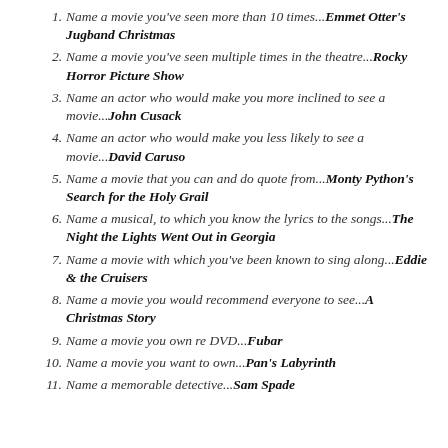1. Name a movie you've seen more than 10 times...Emmet Otter's Jugband Christmas
2. Name a movie you've seen multiple times in the theatre...Rocky Horror Picture Show
3. Name an actor who would make you more inclined to see a movie...John Cusack
4. Name an actor who would make you less likely to see a movie...David Caruso
5. Name a movie that you can and do quote from...Monty Python's Search for the Holy Grail
6. Name a musical, to which you know the lyrics to the songs...The Night the Lights Went Out in Georgia
7. Name a movie with which you've been known to sing along...Eddie & the Cruisers
8. Name a movie you would recommend everyone to see...A Christmas Story
9. Name a movie you own re DVD...Fubar
10. Name a movie you want to own...Pan's Labyrinth
11. Name a memorable detective...Sam Spade